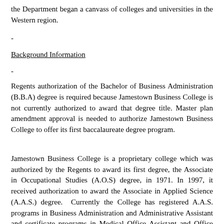the Department began a canvass of colleges and universities in the Western region.
-
Background Information
-
Regents authorization of the Bachelor of Business Administration (B.B.A) degree is required because Jamestown Business College is not currently authorized to award that degree title. Master plan amendment approval is needed to authorize Jamestown Business College to offer its first baccalaureate degree program.
Jamestown Business College is a proprietary college which was authorized by the Regents to award its first degree, the Associate in Occupational Studies (A.O.S) degree, in 1971. In 1997, it received authorization to award the Associate in Applied Science (A.A.S.) degree.  Currently the College has registered A.A.S. programs in Business Administration and Administrative Assistant and certificate programs in Medical Office Assistant and Office Administration.  In the fall of 2005, it had an enrollment of 299